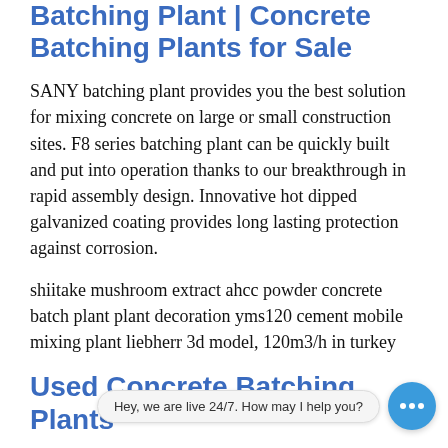Batching Plant | Concrete Batching Plants for Sale
SANY batching plant provides you the best solution for mixing concrete on large or small construction sites. F8 series batching plant can be quickly built and put into operation thanks to our breakthrough in rapid assembly design. Innovative hot dipped galvanized coating provides long lasting protection against corrosion.
shiitake mushroom extract ahcc powder concrete batch plant plant decoration yms120 cement mobile mixing plant liebherr 3d model, 120m3/h in turkey
Used Concrete Batching Plants
The majority of used equipment is from our own hire fleet, has a known service history and is kept in immaculate cond                                          u equipment can be viewed by downloading the attached pdf document or by searching on our